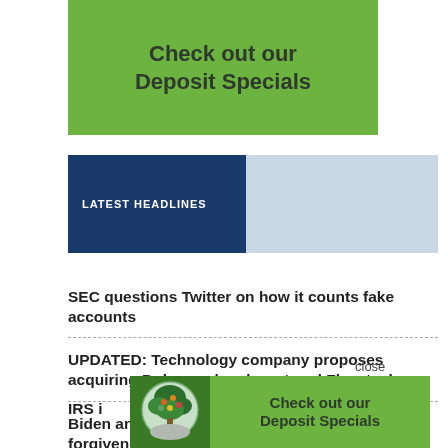[Figure (illustration): Green banner advertisement reading 'Check out our Deposit Specials']
LATEST HEADLINES
SEC questions Twitter on how it counts fake accounts
UPDATED: Technology company proposes acquiring Dubuque-headquartered Flexsteel
Biden announces long-awaited student debt forgiveness plan
Biden's student loan plan: What we know (and what we don't)
IRS i...
[Figure (illustration): Bottom banner advertisement with tree logo and text 'Check out our Deposit Specials' on green background]
close